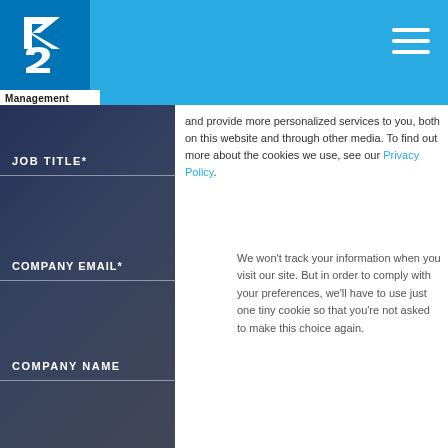[Figure (logo): K2 Management logo with blue square background and white K2 symbol]
Management
and provide more personalized services to you, both on this website and through other media. To find out more about the cookies we use, see our Privacy Policy.
We won't track your information when you visit our site. But in order to comply with your preferences, we'll have to use just one tiny cookie so that you're not asked to make this choice again.
JOB TITLE*
COMPANY EMAIL*
COMPANY NAME
WHAT BEST DESCR
Accept
Decline